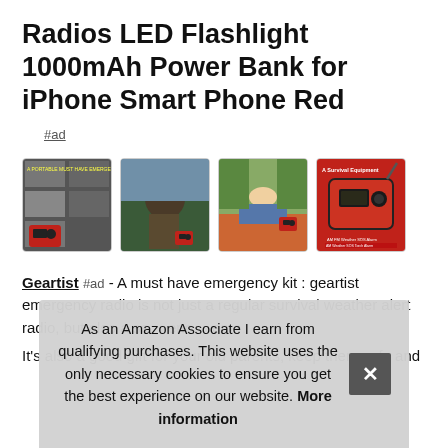Radios LED Flashlight 1000mAh Power Bank for iPhone Smart Phone Red
#ad
[Figure (photo): Four product thumbnail images of an emergency radio: first shows a collage of emergency scenarios with the radio, second shows a military/outdoor user, third shows a woman lying on grass with the radio, fourth shows the red radio with 'A Survival Equipment' label on a red background.]
Geartist #ad - A must have emergency kit : geartist emergency radio is not just a regular survival weather alert radio, but also a se... eno... eme...
It's also a good gift for your old parents, keep them safe and
As an Amazon Associate I earn from qualifying purchases. This website uses the only necessary cookies to ensure you get the best experience on our website. More information